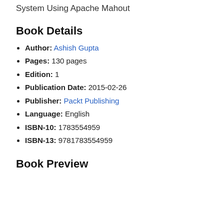System Using Apache Mahout
Book Details
Author: Ashish Gupta
Pages: 130 pages
Edition: 1
Publication Date: 2015-02-26
Publisher: Packt Publishing
Language: English
ISBN-10: 1783554959
ISBN-13: 9781783554959
Book Preview